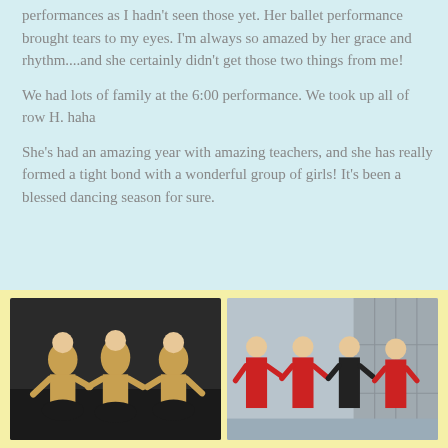performances as I hadn't seen those yet. Her ballet performance brought tears to my eyes. I'm always so amazed by her grace and rhythm....and she certainly didn't get those two things from me!
We had lots of family at the 6:00 performance. We took up all of row H. haha
She's had an amazing year with amazing teachers, and she has really formed a tight bond with a wonderful group of girls! It's been a blessed dancing season for sure.
[Figure (photo): Two side-by-side photos of young girls in dance costumes. Left photo shows three girls in gold and black dance outfits with skirts. Right photo shows four girls in red and black leotards standing in a school hallway.]